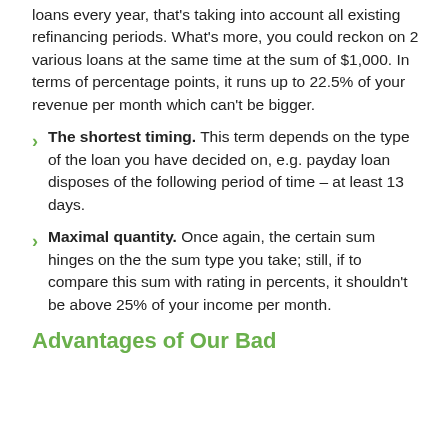loans every year, that's taking into account all existing refinancing periods. What's more, you could reckon on 2 various loans at the same time at the sum of $1,000. In terms of percentage points, it runs up to 22.5% of your revenue per month which can't be bigger.
The shortest timing. This term depends on the type of the loan you have decided on, e.g. payday loan disposes of the following period of time – at least 13 days.
Maximal quantity. Once again, the certain sum hinges on the the sum type you take; still, if to compare this sum with rating in percents, it shouldn't be above 25% of your income per month.
Advantages of Our Bad